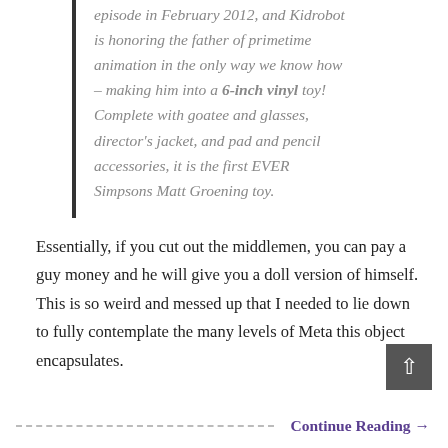episode in February 2012, and Kidrobot is honoring the father of primetime animation in the only way we know how – making him into a 6-inch vinyl toy! Complete with goatee and glasses, director's jacket, and pad and pencil accessories, it is the first EVER Simpsons Matt Groening toy.
Essentially, if you cut out the middlemen, you can pay a guy money and he will give you a doll version of himself. This is so weird and messed up that I needed to lie down to fully contemplate the many levels of Meta this object encapsulates.
Continue Reading →